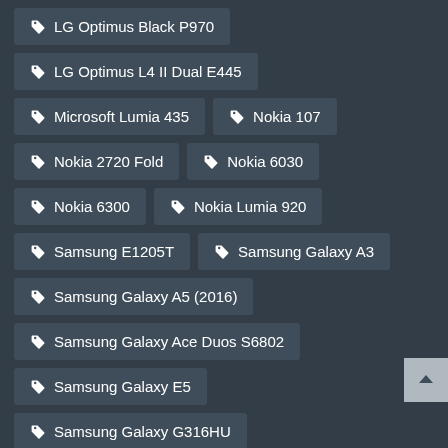🏷 LG Optimus Black P970
🏷 LG Optimus L4 II Dual E445
🏷 Microsoft Lumia 435
🏷 Nokia 107
🏷 Nokia 2720 Fold
🏷 Nokia 6030
🏷 Nokia 6300
🏷 Nokia Lumia 920
🏷 Samsung E1205T
🏷 Samsung Galaxy A3
🏷 Samsung Galaxy A5 (2016)
🏷 Samsung Galaxy Ace Duos S6802
🏷 Samsung Galaxy E5
🏷 Samsung Galaxy G316HU
🏷 Samsung Galaxy Grand I9082
🏷 Samsung Galaxy J1
🏷 Samsung Galaxy J7 J710F
🏷 Samsung Galaxy Pocket 2 SM-G110M